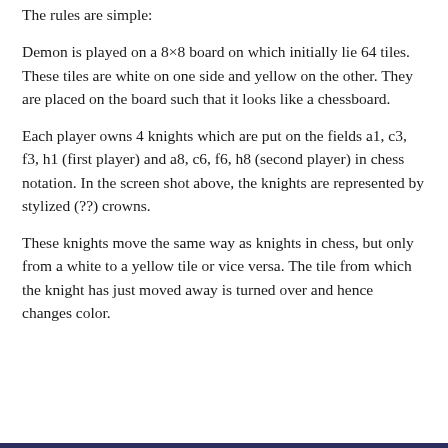The rules are simple:
Demon is played on a 8×8 board on which initially lie 64 tiles. These tiles are white on one side and yellow on the other. They are placed on the board such that it looks like a chessboard.
Each player owns 4 knights which are put on the fields a1, c3, f3, h1 (first player) and a8, c6, f6, h8 (second player) in chess notation. In the screen shot above, the knights are represented by stylized (??) crowns.
These knights move the same way as knights in chess, but only from a white to a yellow tile or vice versa. The tile from which the knight has just moved away is turned over and hence changes color.